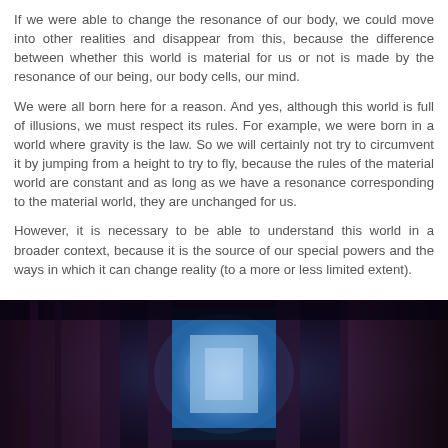If we were able to change the resonance of our body, we could move into other realities and disappear from this, because the difference between whether this world is material for us or not is made by the resonance of our being, our body cells, our mind.
We were all born here for a reason. And yes, although this world is full of illusions, we must respect its rules. For example, we were born in a world where gravity is the law. So we will certainly not try to circumvent it by jumping from a height to try to fly, because the rules of the material world are constant and as long as we have a resonance corresponding to the material world, they are unchanged for us.
However, it is necessary to be able to understand this world in a broader context, because it is the source of our special powers and the ways in which it can change reality (to a more or less limited extent).
[Figure (photo): Dark atmospheric photo showing a dimly lit interior scene with a bright blue glowing rectangular light or window in the center, deep shadows of purple and dark tones surrounding it, suggesting curtains or architectural elements on the sides.]